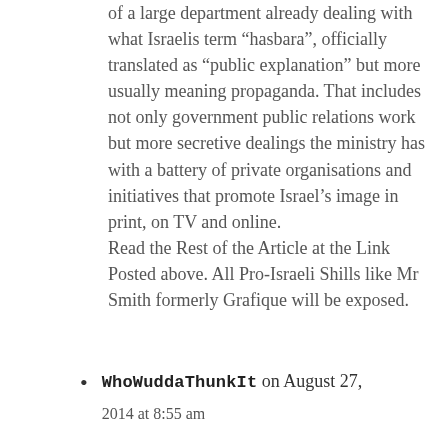of a large department already dealing with what Israelis term “hasbara”, officially translated as “public explanation” but more usually meaning propaganda. That includes not only government public relations work but more secretive dealings the ministry has with a battery of private organisations and initiatives that promote Israel’s image in print, on TV and online.
Read the Rest of the Article at the Link Posted above. All Pro-Israeli Shills like Mr Smith formerly Grafique will be exposed.
WhoWuddaThunkIt on August 27, 2014 at 8:55 am